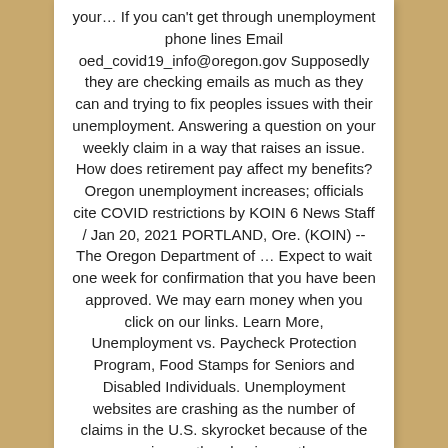your… If you can't get through unemployment phone lines Email oed_covid19_info@oregon.gov Supposedly they are checking emails as much as they can and trying to fix peoples issues with their unemployment. Answering a question on your weekly claim in a way that raises an issue. How does retirement pay affect my benefits? Oregon unemployment increases; officials cite COVID restrictions by KOIN 6 News Staff / Jan 20, 2021 PORTLAND, Ore. (KOIN) -- The Oregon Department of … Expect to wait one week for confirmation that you have been approved. We may earn money when you click on our links. Learn More, Unemployment vs. Paycheck Protection Program, Food Stamps for Seniors and Disabled Individuals. Unemployment websites are crashing as the number of claims in the U.S. skyrocket because of the coronavirus outbreak. give us the new account information by submitting another. UC Employer Service Center: 833-728-2367 Monday - Friday from 8 a.m. to 4 p.m. The Oregon unemployment office